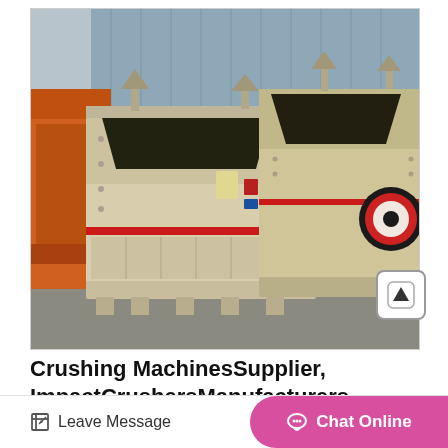[Figure (photo): Two large industrial impact crusher machines in cream/beige color with red accent stripe and red-centered black flywheel, parked in a factory yard with orange machinery visible on the left and a blue corrugated metal building in the background.]
Crushing MachinesSupplier, ImpactCrushersManufacturers
Leave Message
Chat Online